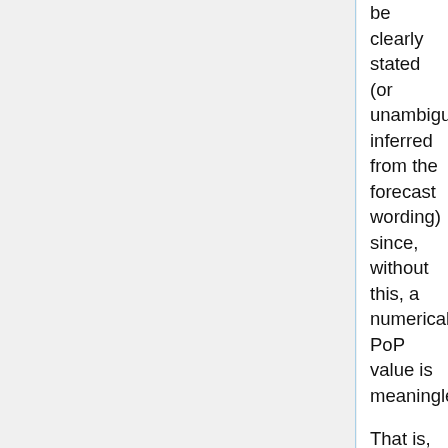be clearly stated (or unambiguously inferred from the forecast wording) since, without this, a numerical PoP value is meaningless.
That is, it is the average point probability within the forecast area and the same PoP is assigned to each point. It can be shown that the PoP is equal to the expected area coverage of the precipitation (Schaefer, J. T. and R. L. Livingston, 1990: Operational implications of the "Probability of Precipitation". Weather. Forecasting, 5,